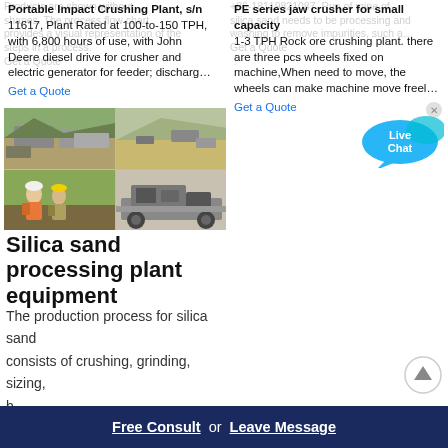Portable Impact Crushing Plant, s/n 11617, Plant Rated at 100-to-150 TPH, with 6,800 hours of use, with John Deere diesel drive for crusher and electric generator for feeder; discharg…
Get a Quote
PE series jaw crusher for small capacity 1-3 TPH Rock ore crushing plant. there are three pcs wheels fixed on machine,When need to move, the wheels can make machine move freel…
Get a Quote
[Figure (photo): Four-panel photo collage showing quarry/crushing plant operations: top-left shows a quarry with heavy machinery, top-right shows an open pit mine, bottom-left shows workers, bottom-right shows a mobile crushing machine.]
Silica sand processing plant equipment
The production process for silica sand consists of crushing, grinding, sizing, b… c…
Free Consult  or  Leave Message